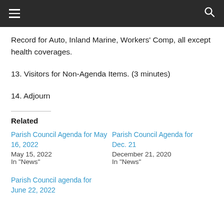☰  🔍
Record for Auto, Inland Marine, Workers' Comp, all except health coverages.
13. Visitors for Non-Agenda Items. (3 minutes)
14. Adjourn
Related
Parish Council Agenda for May 16, 2022
May 15, 2022
In "News"
Parish Council Agenda for Dec. 21
December 21, 2020
In "News"
Parish Council agenda for June 22, 2022